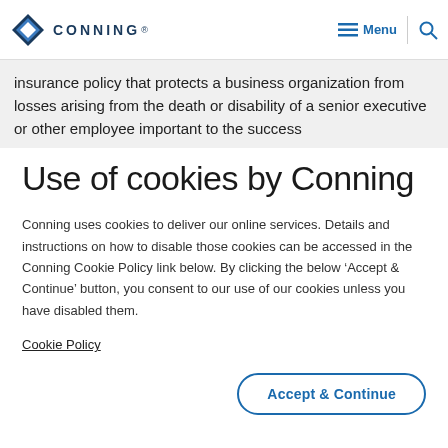CONNING  Menu
insurance policy that protects a business organization from losses arising from the death or disability of a senior executive or other employee important to the success
Use of cookies by Conning
Conning uses cookies to deliver our online services. Details and instructions on how to disable those cookies can be accessed in the Conning Cookie Policy link below. By clicking the below ‘Accept & Continue’ button, you consent to our use of our cookies unless you have disabled them.
Cookie Policy
Accept & Continue